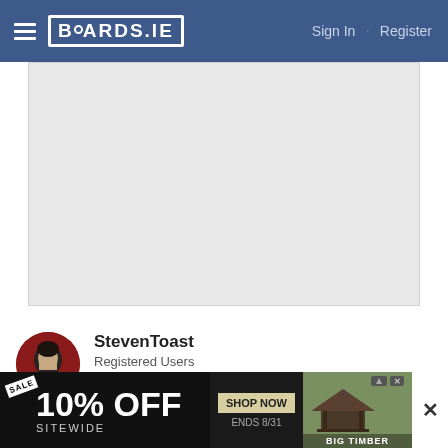BOARDS.IE  Sign In · Register
[Figure (other): Gray advertisement placeholder banner area]
StevenToast
Registered Users
Posts: 1,909 ★★★
21-02-2021 10:48am
verwanthere123 wrote: »
[Figure (other): Advertisement overlay: SALE 10% OFF SITEWIDE - SHOP NOW ENDS 8/31 - BIG TIMBER]